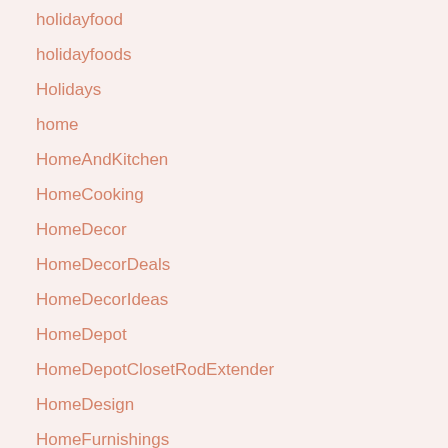holidayfood
holidayfoods
Holidays
home
HomeAndKitchen
HomeCooking
HomeDecor
HomeDecorDeals
HomeDecorIdeas
HomeDepot
HomeDepotClosetRodExtender
HomeDesign
HomeFurnishings
HomegrownVegetables
HomeGym